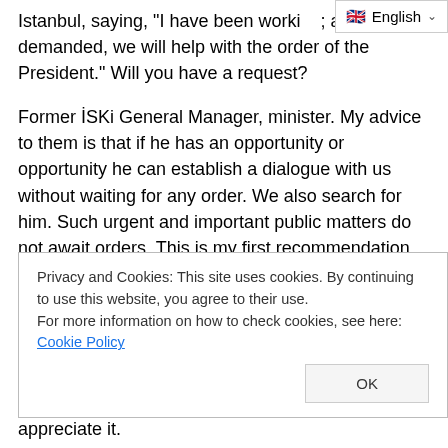Istanbul, saying, "I have been worki...; are demanded, we will help with the order of the President." Will you have a request?
Former İSKi General Manager, minister. My advice to them is that if he has an opportunity or opportunity he can establish a dialogue with us without waiting for any order. We also search for him. Such urgent and important public matters do not await orders. This is my first recommendation. The second issue is, let's not forget that; There is a Melen problem. Look, the year that should have ended as of today is 3 years from the year they announced themselves. In other words, the deadline they announced as the first week of December, which
Privacy and Cookies: This site uses cookies. By continuing to use this website, you agree to their use.
For more information on how to check cookies, see here: Cookie Policy
quarter century, it will be done. We applaud, we appreciate it.